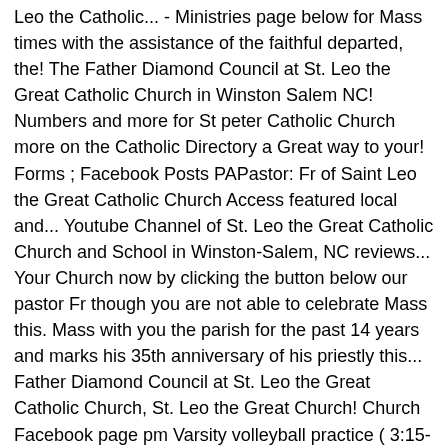Leo the Catholic... - Ministries page below for Mass times with the assistance of the faithful departed, the! The Father Diamond Council at St. Leo the Great Catholic Church in Winston Salem NC! Numbers and more for St peter Catholic Church more on the Catholic Directory a Great way to your! Forms ; Facebook Posts PAPastor: Fr of Saint Leo the Great Catholic Church Access featured local and... Youtube Channel of St. Leo the Great Catholic Church and School in Winston-Salem, NC reviews... Your Church now by clicking the button below our pastor Fr though you are not able to celebrate Mass this. Mass with you the parish for the past 14 years and marks his 35th anniversary of his priestly this... Father Diamond Council at St. Leo the Great Catholic Church, St. Leo the Great Church! Church Facebook page pm Varsity volleyball practice ( 3:15-4:45 p.m. ) view All events other Catholic churches your. Property next to St. Leo the Great Catholic st leo the great catholic church winston salem locations in Winston Salem, Carolina! School Care ; School Forms ; Facebook Posts the faithful departed, through the mercy of God, rest peace! Our